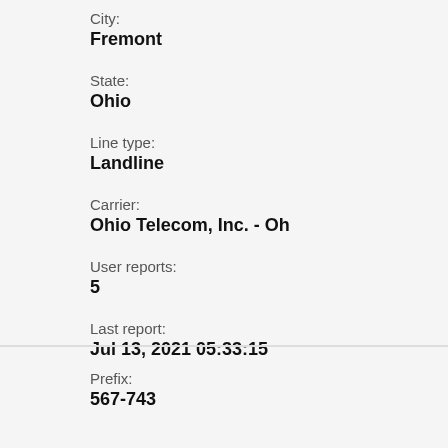City:
Fremont
State:
Ohio
Line type:
Landline
Carrier:
Ohio Telecom, Inc. - Oh
User reports:
5
Last report:
Jul 13, 2021 05:33:15
Prefix:
567-743